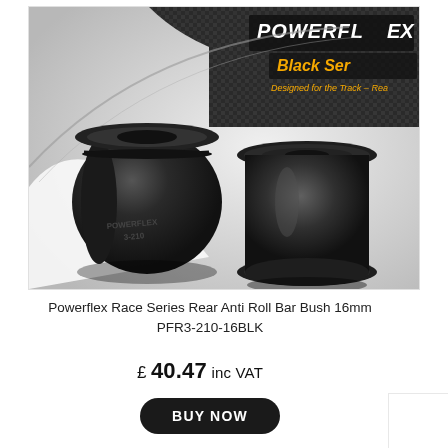[Figure (photo): Two black Powerflex Race Series (Black Series) rubber bushes on a white/grey background. Text on bush reads POWERFLEX 3-210. Powerflex Black Series branding visible in top right with text 'Designed for the Track - Rea...']
Powerflex Race Series Rear Anti Roll Bar Bush 16mm PFR3-210-16BLK
£ 40.47 inc VAT
BUY NOW